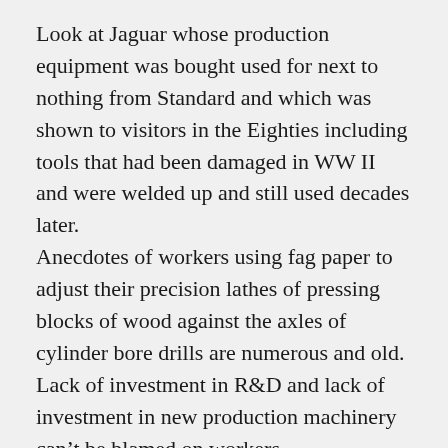Look at Jaguar whose production equipment was bought used for next to nothing from Standard and which was shown to visitors in the Eighties including tools that had been damaged in WW II and were welded up and still used decades later. Anecdotes of workers using fag paper to adjust their precision lathes of pressing blocks of wood against the axles of cylinder bore drills are numerous and old. Lack of investment in R&D and lack of investment in new production machinery can't be blamed on workers. Workers also weren't responsible for cars designed so that they couldn't be produced and workers weren't responsible for the